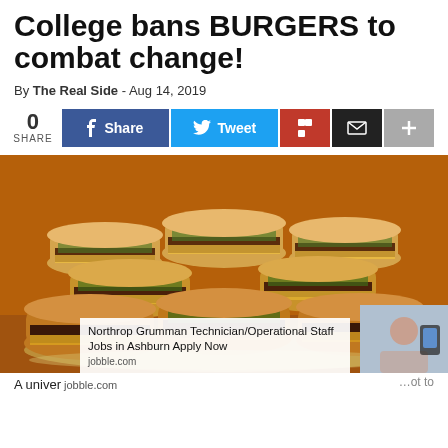College bans BURGERS to combat change!
By The Real Side - Aug 14, 2019
[Figure (infographic): Social share bar with share count 0, Facebook Share button, Twitter Tweet button, Flipboard button, Email button, and plus button]
[Figure (photo): A large stack of mini cheeseburgers/sliders piled on a tray, with pickles and sesame seed buns, photographed close up]
Northrop Grumman Technician/Operational Staff Jobs in Ashburn Apply Now | jobble.com
A univer